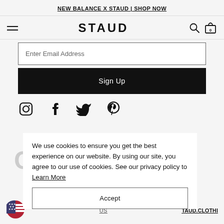NEW BALANCE X STAUD | SHOP NOW
STAUD
Enter Email Address
Sign Up
[Figure (infographic): Social media icons row: Instagram, Facebook, Twitter, Pinterest]
We use cookies to ensure you get the best experience on our website. By using our site, you agree to our use of cookies. See our privacy policy to Learn More
Accept
TAUD.CLOTHI